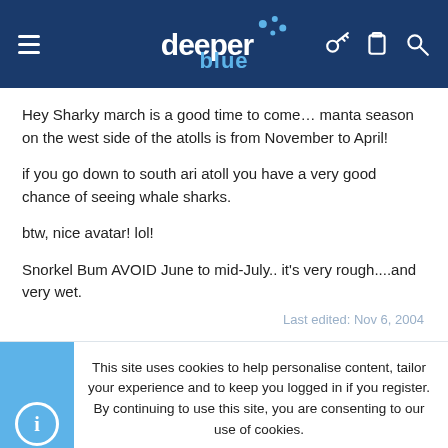deeper blue
Hey Sharky march is a good time to come… manta season on the west side of the atolls is from November to April!
if you go down to south ari atoll you have a very good chance of seeing whale sharks.
btw, nice avatar! lol!
Snorkel Bum AVOID June to mid-July.. it's very rough....and very wet.
Last edited: Nov 6, 2004
This site uses cookies to help personalise content, tailor your experience and to keep you logged in if you register.
By continuing to use this site, you are consenting to our use of cookies.